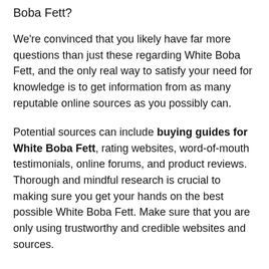Boba Fett?
We're convinced that you likely have far more questions than just these regarding White Boba Fett, and the only real way to satisfy your need for knowledge is to get information from as many reputable online sources as you possibly can.
Potential sources can include buying guides for White Boba Fett, rating websites, word-of-mouth testimonials, online forums, and product reviews. Thorough and mindful research is crucial to making sure you get your hands on the best possible White Boba Fett. Make sure that you are only using trustworthy and credible websites and sources.
We provide an White Boba Fett buying guide, and the information is totally objective and authentic. We employ both AI and big data in proofreading the collected